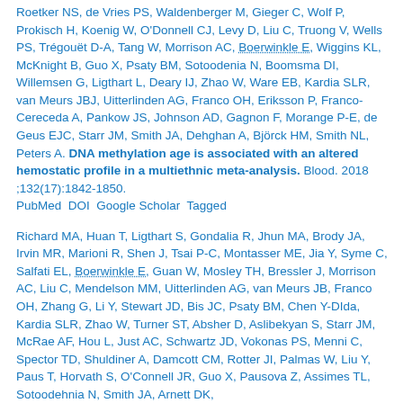Roetker NS, de Vries PS, Waldenberger M, Gieger C, Wolf P, Prokisch H, Koenig W, O'Donnell CJ, Levy D, Liu C, Truong V, Wells PS, Trégouët D-A, Tang W, Morrison AC, Boerwinkle E, Wiggins KL, McKnight B, Guo X, Psaty BM, Sotoodenia N, Boomsma DI, Willemsen G, Ligthart L, Deary IJ, Zhao W, Ware EB, Kardia SLR, van Meurs JBJ, Uitterlinden AG, Franco OH, Eriksson P, Franco-Cereceda A, Pankow JS, Johnson AD, Gagnon F, Morange P-E, de Geus EJC, Starr JM, Smith JA, Dehghan A, Björck HM, Smith NL, Peters A. DNA methylation age is associated with an altered hemostatic profile in a multiethnic meta-analysis. Blood. 2018 ;132(17):1842-1850. PubMed DOI Google Scholar Tagged
Richard MA, Huan T, Ligthart S, Gondalia R, Jhun MA, Brody JA, Irvin MR, Marioni R, Shen J, Tsai P-C, Montasser ME, Jia Y, Syme C, Salfati EL, Boerwinkle E, Guan W, Mosley TH, Bressler J, Morrison AC, Liu C, Mendelson MM, Uitterlinden AG, van Meurs JB, Franco OH, Zhang G, Li Y, Stewart JD, Bis JC, Psaty BM, Chen Y-DIda, Kardia SLR, Zhao W, Turner ST, Absher D, Aslibekyan S, Starr JM, McRae AF, Hou L, Just AC, Schwartz JD, Vokonas PS, Menni C, Spector TD, Shuldiner A, Damcott CM, Rotter JI, Palmas W, Liu Y, Paus T, Horvath S, O'Connell JR, Guo X, Pausova Z, Assimes TL, Sotoodehnia N, Smith JA, Arnett DK,